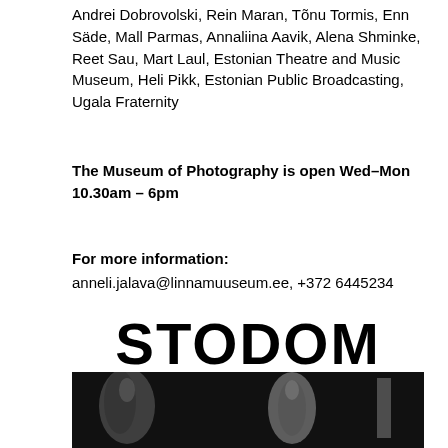Andrei Dobrovolski, Rein Maran, Tõnu Tormis, Enn Säde, Mall Parmas, Annaliina Aavik, Alena Shminke, Reet Sau, Mart Laul, Estonian Theatre and Music Museum, Heli Pikk, Estonian Public Broadcasting, Ugala Fraternity
The Museum of Photography is open Wed–Mon 10.30am – 6pm
For more information:
anneli.jalava@linnamuuseum.ee, +372 6445234
STODOM
[Figure (photo): Black and white photograph showing what appears to be elongated objects or figures against a dark background, partially visible at the bottom of the page.]